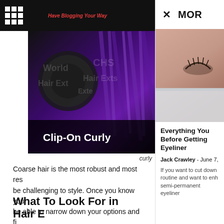Have Blogging Your Way
[Figure (photo): Blog article hero image showing clip-on curly hair extensions with purple tones and text overlay reading 'Clip-On Curly']
curly
Coarse hair is the most robust and most res... be challenging to style. Once you know your... be able to narrow down your options and fi... extensions for your needs.
What To Look For in Hair E
When shopping for hair extensions, you sho... things in mind.
[Figure (photo): Sidebar image showing a close-up of a person's eye area/eyeliner, skin tones]
Everything You Before Getting Eyeliner
Jack Crawley - June 7,
If you want to cut down routine and want to enh semi-permanent eyeliner